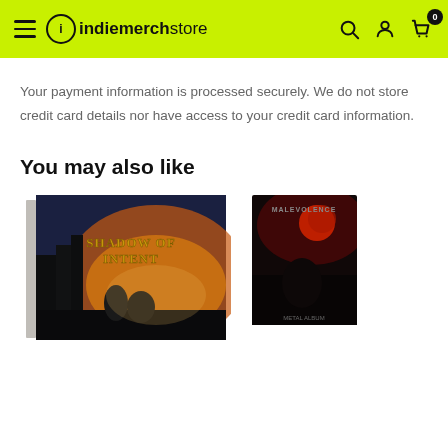indiemerchstore navigation bar
Your payment information is processed securely. We do not store credit card details nor have access to your credit card information.
You may also like
[Figure (photo): Shadow of Intent album CD cover — fantasy/metal artwork with 'Shadow of Intent' logo text, two characters in a dramatic landscape with orange sky]
[Figure (photo): Another metal album CD cover — dark artwork with red moon, figures on a dark background]